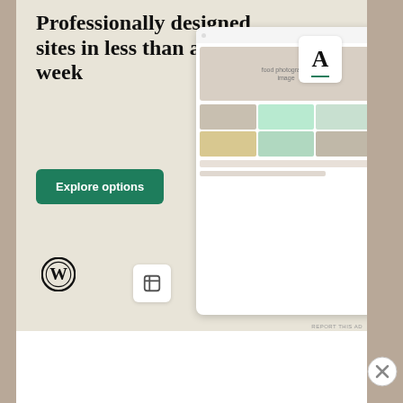[Figure (screenshot): WordPress advertisement banner with beige background showing 'Professionally designed sites in less than a week' text, green 'Explore options' button, WordPress logo, and website design screenshots on the right side. REPORT THIS AD text at bottom right.]
Share this
[Figure (screenshot): Blue Twitter Tweet button with bird icon]
[Figure (screenshot): Like button with star icon and 6 user avatar thumbnails next to it]
6 bloggers like this.
Advertisements
[Figure (screenshot): Automattic advertisement box with AUTOMATTIC logo and tagline 'Build a better web and a better world.']
[Figure (screenshot): Circle X close button on the right side]